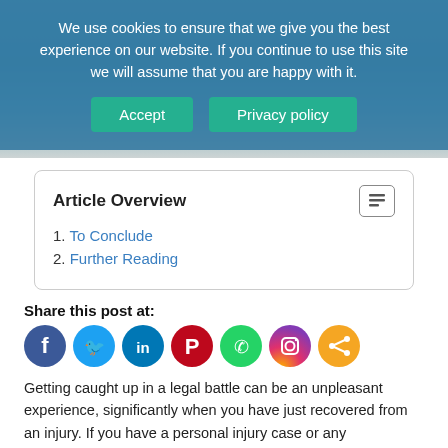[Figure (photo): Hero image of a document/book on a marble surface, partially obscured by a cookie consent banner overlay with teal/blue background]
We use cookies to ensure that we give you the best experience on our website. If you continue to use this site we will assume that you are happy with it.
Accept | Privacy policy
Article Overview
1. To Conclude
2. Further Reading
Share this post at:
[Figure (infographic): Row of social media share icons: Facebook (dark blue), Twitter (light blue), LinkedIn (blue), Pinterest (red), WhatsApp (green), Instagram (gradient purple-orange), Share (orange)]
Getting caught up in a legal battle can be an unpleasant experience, significantly when you have just recovered from an injury. If you have a personal injury case or any